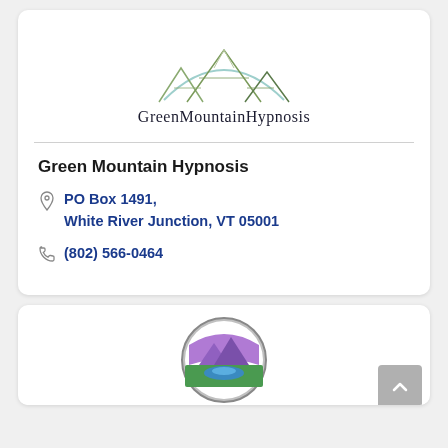[Figure (logo): Green Mountain Hypnosis logo with mountain peaks and arc above text]
Green Mountain Hypnosis
PO Box 1491, White River Junction, VT 05001
(802) 566-0464
[Figure (logo): Circular logo with mountain/nature scene in purple, green, and blue tones]